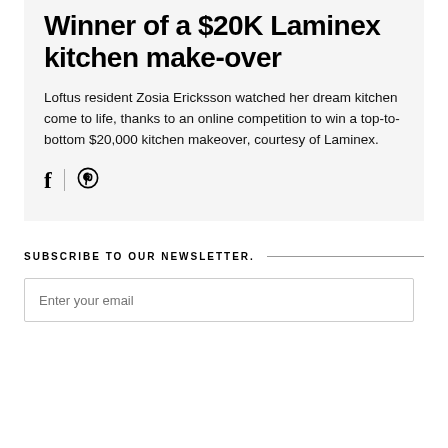Winner of a $20K Laminex kitchen make-over
Loftus resident Zosia Ericksson watched her dream kitchen come to life, thanks to an online competition to win a top-to-bottom $20,000 kitchen makeover, courtesy of Laminex.
SUBSCRIBE TO OUR NEWSLETTER.